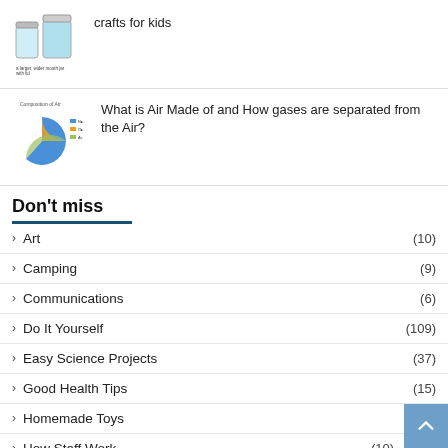[Figure (illustration): Thumbnail of mason jars (ant farm) with small caption text: 'a larger, wider mouth jar with lid']
crafts for kids
[Figure (illustration): Thumbnail showing 'Composition of Air' pie chart diagram]
What is Air Made of and How gases are separated from the Air?
Don't miss
› Art (10)
› Camping (9)
› Communications (6)
› Do It Yourself (109)
› Easy Science Projects (37)
› Good Health Tips (15)
› Homemade Toys (29)
› How Staff Work (10)